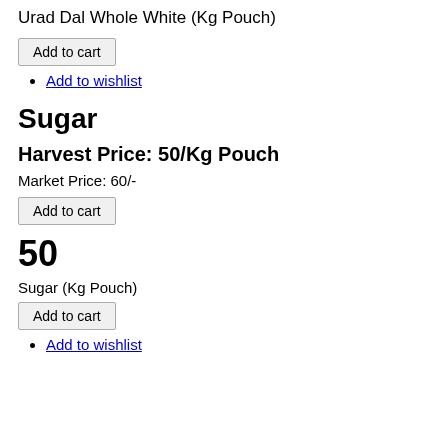Urad Dal Whole White (Kg Pouch)
Add to cart
Add to wishlist
Sugar
Harvest Price: 50/Kg Pouch
Market Price: 60/-
Add to cart
50
Sugar (Kg Pouch)
Add to cart
Add to wishlist